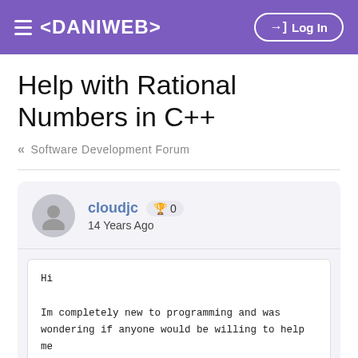≡ <DANIWEB>   →] Log In
Help with Rational Numbers in C++
« Software Development Forum
cloudjc 🏆 0
14 Years Ago
Hi

Im completely new to programming and was wondering if anyone would be willing to help me with this exercise in C++. I have absolutely no idea how to do this exercise:
------------------------------------------------